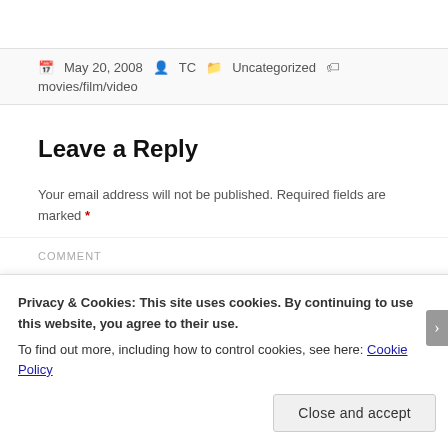May 20, 2008  TC  Uncategorized  movies/film/video
Leave a Reply
Your email address will not be published. Required fields are marked *
Privacy & Cookies: This site uses cookies. By continuing to use this website, you agree to their use.
To find out more, including how to control cookies, see here: Cookie Policy
Close and accept